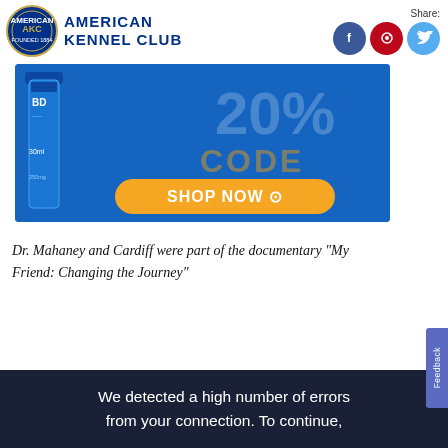[Figure (logo): American Kennel Club logo with AKC circular emblem and bold text 'AMERICAN KENNEL CLUB']
[Figure (screenshot): Advertisement banner with blue background showing a CBD product bottle, '20%' and 'CODE' text in faded overlay, and an orange 'SHOP NOW' button]
Dr. Mahaney and Cardiff were part of the documentary “My Friend: Changing the Journey”
We detected a high number of errors from your connection. To continue,